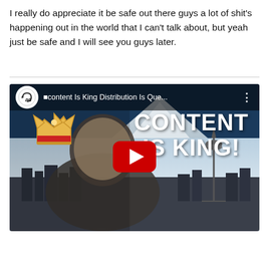I really do appreciate it be safe out there guys a lot of shit's happening out in the world that I can't talk about, but yeah just be safe and I will see you guys later.
[Figure (screenshot): YouTube video thumbnail embed showing a man with a crown emoji graphic, text 'Content Is King Distribution Is Que...' in the top bar, and large overlay text 'CONTENT IS KING!' with a red YouTube play button. Background shows Seattle skyline and mountain.]